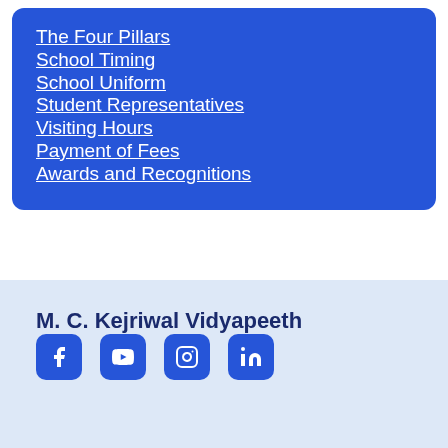The Four Pillars
School Timing
School Uniform
Student Representatives
Visiting Hours
Payment of Fees
Awards and Recognitions
M. C. Kejriwal Vidyapeeth
[Figure (infographic): Social media icons: Facebook, YouTube, Instagram, LinkedIn on blue rounded square backgrounds]